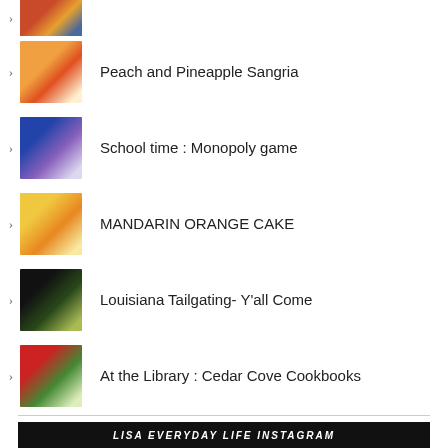(partial image, cut off)
Peach and Pineapple Sangria
School time : Monopoly game
MANDARIN ORANGE CAKE
Louisiana Tailgating- Y'all Come
At the Library : Cedar Cove Cookbooks
[Figure (other): Black banner with white bold italic text reading LISA EVERYDAY LIFE INSTAGRAM]